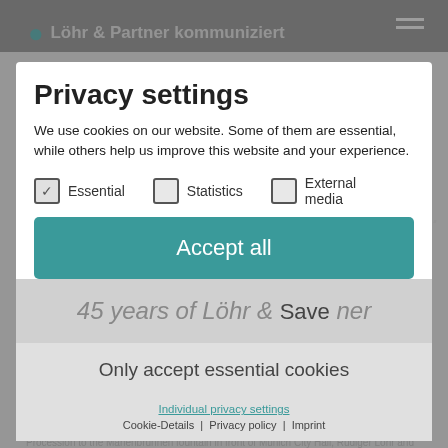Privacy settings
We use cookies on our website. Some of them are essential, while others help us improve this website and your experience.
Essential  Statistics  External media
Accept all
Save
Only accept essential cookies
Individual privacy settings
Cookie-Details | Privacy policy | Imprint